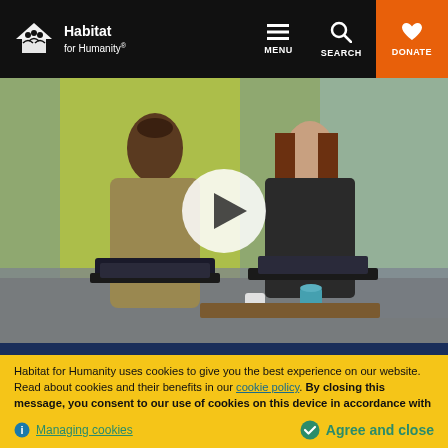Habitat for Humanity — MENU | SEARCH | DONATE
[Figure (photo): Two women sitting on a sofa with laptops, smiling and talking in an office setting with a video play button overlay]
Habitat for Humanity uses cookies to give you the best experience on our website. Read about cookies and their benefits in our cookie policy. By closing this message, you consent to our use of cookies on this device in accordance with our policy unless you have disabled them.
Managing cookies
Agree and close